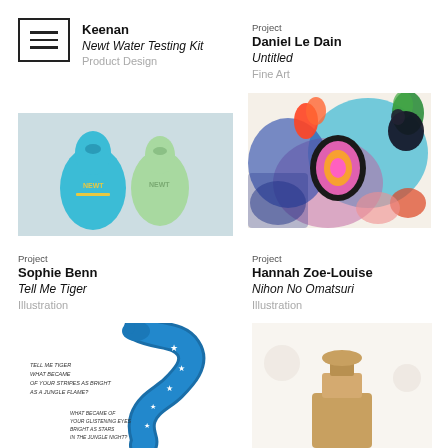[Figure (other): Hamburger menu icon — three horizontal lines inside a square border]
Keenan
Newt Water Testing Kit
Product Design
Project
Daniel Le Dain
Untitled
Fine Art
[Figure (photo): Two teardrop-shaped water testing devices labelled NEWT, one blue and one mint green, on a grey background]
[Figure (photo): Colourful painting with birds, flowers and abstract shapes in pink, blue, orange, and green tones]
Project
Sophie Benn
Tell Me Tiger
Illustration
Project
Hannah Zoe-Louise
Nihon No Omatsuri
Illustration
[Figure (illustration): Illustration for Tell Me Tiger — stylised blue serpentine creature with stars on a white background with poem text]
[Figure (illustration): Partial illustration for Nihon No Omatsuri — lower portion cropped at page edge]